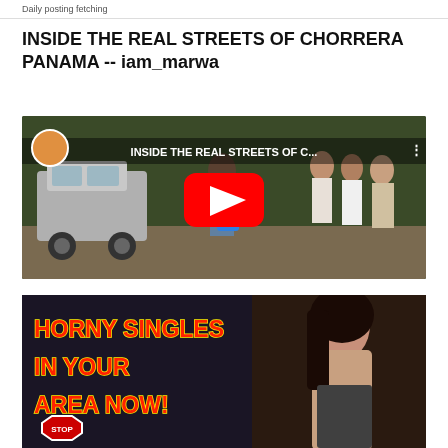Daily posting fetching
INSIDE THE REAL STREETS OF CHORRERA PANAMA -- iam_marwa
[Figure (screenshot): YouTube video thumbnail showing street scene in Chorrera Panama with title overlay 'INSIDE THE REAL STREETS OF C...' and red YouTube play button]
[Figure (photo): Advertisement banner reading 'HORNY SINGLES IN YOUR AREA NOW!' in red text with yellow outline, alongside a photo of a woman]